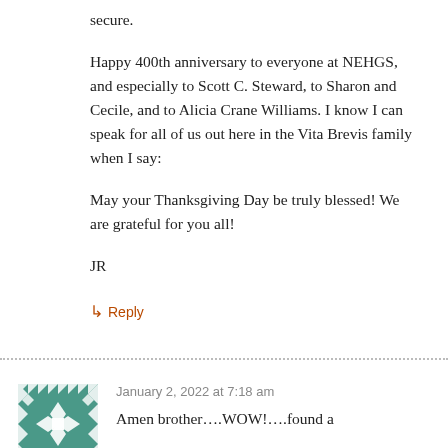secure.
Happy 400th anniversary to everyone at NEHGS, and especially to Scott C. Steward, to Sharon and Cecile, and to Alicia Crane Williams. I know I can speak for all of us out here in the Vita Brevis family when I say:
May your Thanksgiving Day be truly blessed! We are grateful for you all!
JR
↳ Reply
January 2, 2022 at 7:18 am
Amen brother….WOW!….found a